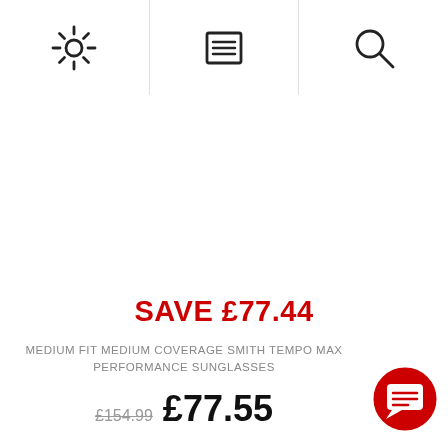[Figure (screenshot): Navigation bar with three icons: settings/gear icon, menu/list icon, and search/magnifying glass icon, separated by vertical dividers]
SAVE £77.44
MEDIUM FIT MEDIUM COVERAGE SMITH TEMPO MAX PERFORMANCE SUNGLASSES
£154.99 £77.55
[Figure (illustration): Red circular chat/message button with white speech bubble icon in bottom right corner]